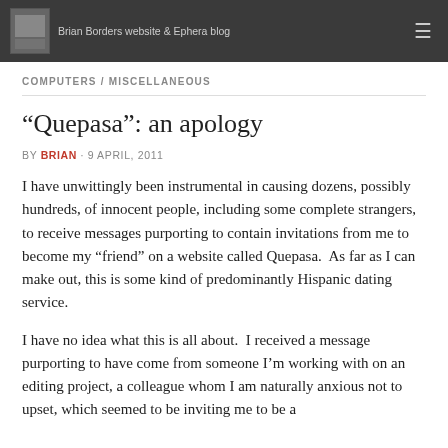Brian Borders website & Ephera blog
COMPUTERS / MISCELLANEOUS
“Quepasa”: an apology
BY BRIAN · 9 APRIL, 2011
I have unwittingly been instrumental in causing dozens, possibly hundreds, of innocent people, including some complete strangers, to receive messages purporting to contain invitations from me to become my “friend” on a website called Quepasa.  As far as I can make out, this is some kind of predominantly Hispanic dating service.
I have no idea what this is all about.  I received a message purporting to have come from someone I’m working with on an editing project, a colleague whom I am naturally anxious not to upset, which seemed to be inviting me to be a